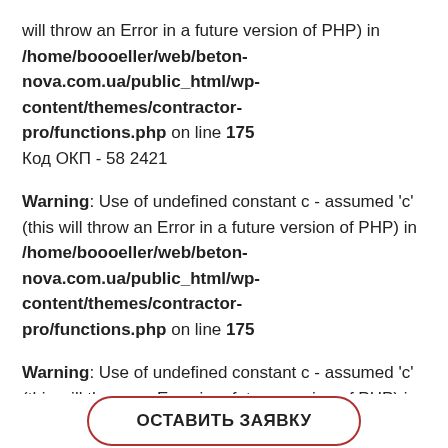will throw an Error in a future version of PHP) in /home/boooeller/web/beton-nova.com.ua/public_html/wp-content/themes/contractor-pro/functions.php on line 175
Код ОКП - 58 2421
Warning: Use of undefined constant c - assumed 'c' (this will throw an Error in a future version of PHP) in /home/boooeller/web/beton-nova.com.ua/public_html/wp-content/themes/contractor-pro/functions.php on line 175
Warning: Use of undefined constant c - assumed 'c' (this will throw an Error in a future version of PHP) in /home/boooeller/web/beton-nova.com.ua/public_html/wp-content/themes/contractor-pro/functions.php on line ...
ОСТАВИТЬ ЗАЯВКУ